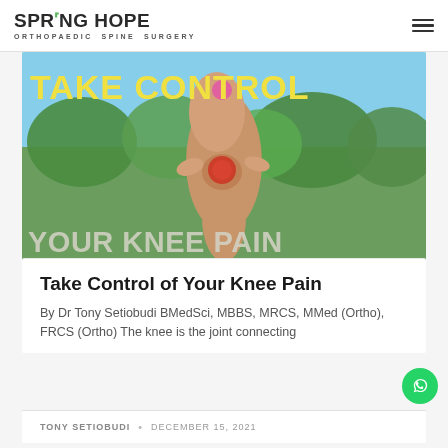SPRING HOPE ORTHOPAEDIC SPINE SURGERY
[Figure (photo): Promotional health article banner showing a person's knee being held, with text overlays reading 'TAKE CONTROL' in yellow at the top and 'YOUR KNEE PAIN' in white/gray at the bottom, with a red circle highlighting the knee joint. Background shows blue sky and green trees.]
Take Control of Your Knee Pain
By Dr Tony Setiobudi BMedSci, MBBS, MRCS, MMed (Ortho), FRCS (Ortho) The knee is the joint connecting
TONY SETIOBUDI • DECEMBER 15, 2021